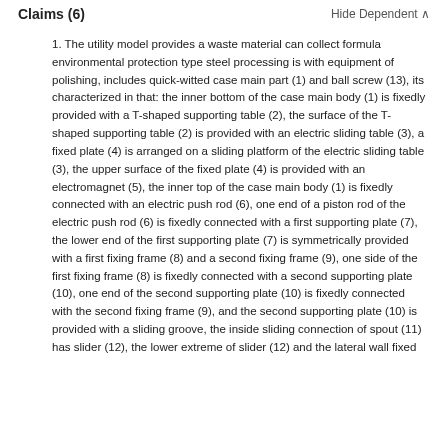Claims (6)   Hide Dependent
1. The utility model provides a waste material can collect formula environmental protection type steel processing is with equipment of polishing, includes quick-witted case main part (1) and ball screw (13), its characterized in that: the inner bottom of the case main body (1) is fixedly provided with a T-shaped supporting table (2), the surface of the T-shaped supporting table (2) is provided with an electric sliding table (3), a fixed plate (4) is arranged on a sliding platform of the electric sliding table (3), the upper surface of the fixed plate (4) is provided with an electromagnet (5), the inner top of the case main body (1) is fixedly connected with an electric push rod (6), one end of a piston rod of the electric push rod (6) is fixedly connected with a first supporting plate (7), the lower end of the first supporting plate (7) is symmetrically provided with a first fixing frame (8) and a second fixing frame (9), one side of the first fixing frame (8) is fixedly connected with a second supporting plate (10), one end of the second supporting plate (10) is fixedly connected with the second fixing frame (9), and the second supporting plate (10) is provided with a sliding groove, the inside sliding connection of spout (11) has slider (12), the lower extreme of slider (12) and the lateral wall fixed